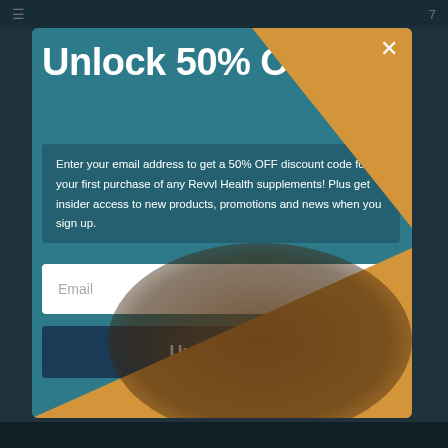Unlock 50% Off
Enter your email address to get a 50% OFF discount code for your first purchase of any Revvl Health supplements! Plus get insider access to new products, promotions and news when you sign up.
Email
Unlock Now
By signing up I agree to receive email marketing
No, thanks